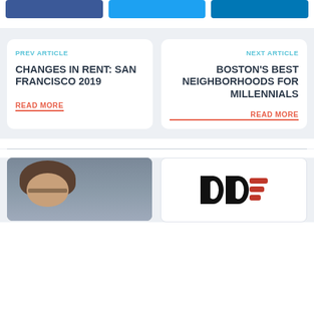[Figure (other): Social share buttons: Facebook (dark blue), Twitter (light blue), LinkedIn (medium blue)]
PREV ARTICLE
CHANGES IN RENT: SAN FRANCISCO 2019
READ MORE
NEXT ARTICLE
BOSTON'S BEST NEIGHBORHOODS FOR MILLENNIALS
READ MORE
[Figure (photo): Person with dark hair and glasses, partially visible, close-up portrait photo]
[Figure (logo): Logo with bold D letters and red wing stripes on white background]